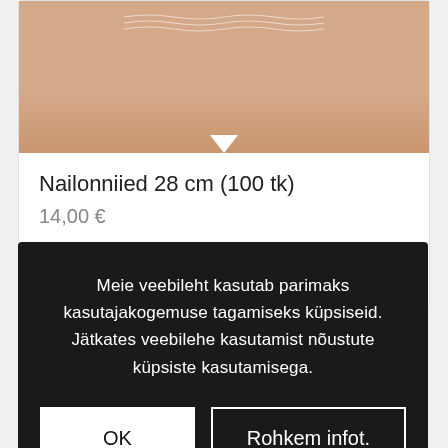[Figure (photo): Product image showing skin-toned item against beige/tan background with decorative wave lines and a white notch at the bottom]
Nailonniied 28 cm (100 tk)
14,00 €
Lisa korvi
Vaata lähemalt
Meie veebileht kasutab parimaks kasutajakogemuse tagamiseks küpsiseid. Jätkates veebilehe kasutamist nõustute küpsiste kasutamisega.
OK
Rohkem infot.
[Figure (photo): Bottom strip showing skin-toned background with dark brown circular dots/buttons]